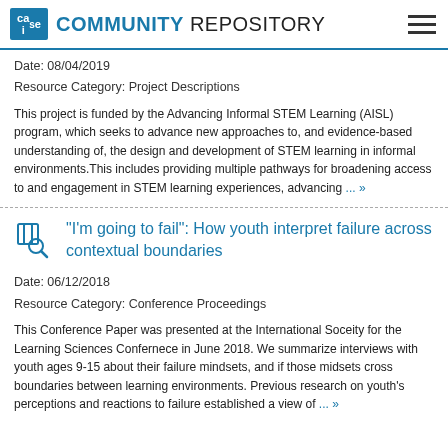CAISE COMMUNITY REPOSITORY
Date: 08/04/2019
Resource Category: Project Descriptions
This project is funded by the Advancing Informal STEM Learning (AISL) program, which seeks to advance new approaches to, and evidence-based understanding of, the design and development of STEM learning in informal environments. This includes providing multiple pathways for broadening access to and engagement in STEM learning experiences, advancing ... »
“I’m going to fail”: How youth interpret failure across contextual boundaries
Date: 06/12/2018
Resource Category: Conference Proceedings
This Conference Paper was presented at the International Soceity for the Learning Sciences Confernece in June 2018. We summarize interviews with youth ages 9-15 about their failure mindsets, and if those midsets cross boundaries between learning environments. Previous research on youth’s perceptions and reactions to failure established a view of ... »